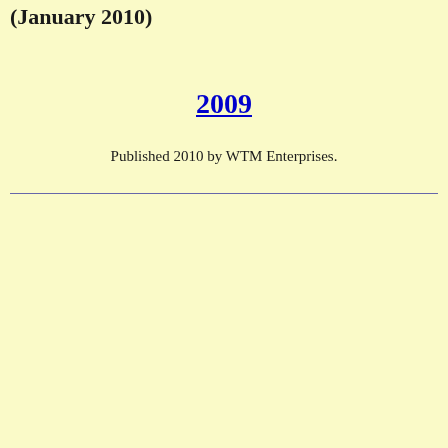(January 2010)
2009
Published 2010 by WTM Enterprises.